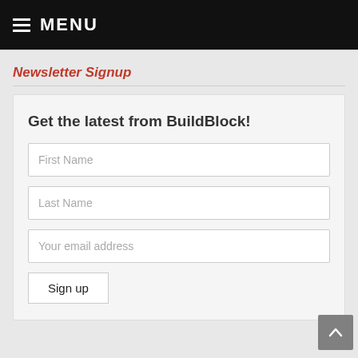MENU
Newsletter Signup
Get the latest from BuildBlock!
First Name
Last Name
Your email address
Sign up